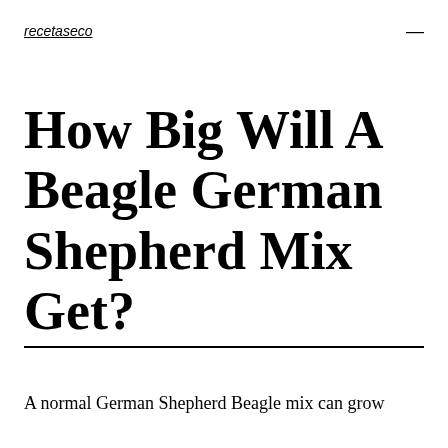recetaseco
How Big Will A Beagle German Shepherd Mix Get?
A normal German Shepherd Beagle mix can grow up to 24-26 inches and weigh 55-80 lbs. A normal...